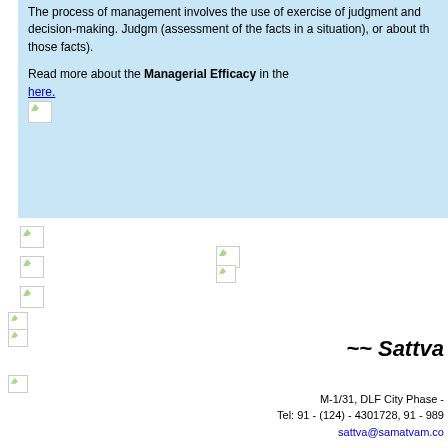The process of management involves the use of exercise of judgment and decision-making. Judgment (assessment of the facts in a situation), or about those facts).
Read more about the Managerial Efficacy in the here.
~~ Sattva
M-1/31, DLF City Phase - Tel: 91 - (124) - 4301728, 91 - 989 sattva@samatvam.co